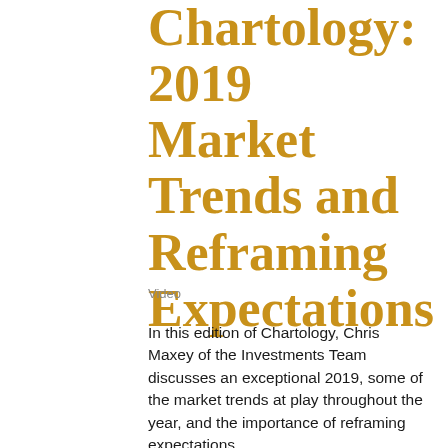Chartology: 2019 Market Trends and Reframing Expectations
Video
In this edition of Chartology, Chris Maxey of the Investments Team discusses an exceptional 2019, some of the market trends at play throughout the year, and the importance of reframing expectations and performance attribution based